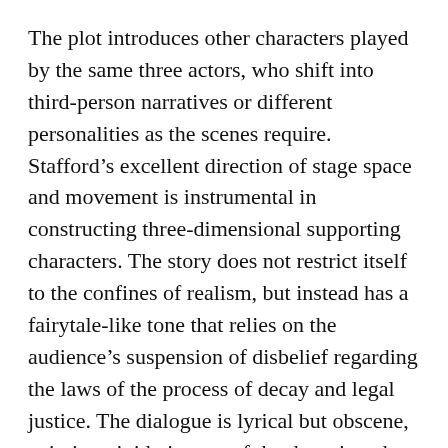The plot introduces other characters played by the same three actors, who shift into third-person narratives or different personalities as the scenes require. Stafford's excellent direction of stage space and movement is instrumental in constructing three-dimensional supporting characters. The story does not restrict itself to the confines of realism, but instead has a fairytale-like tone that relies on the audience's suspension of disbelief regarding the laws of the process of decay and legal justice. The dialogue is lyrical but obscene, painting vivid pictures of the decapitated corpse and the scavengers that make the body their meal.
Tonkin is the highlight of the show; her exceptional